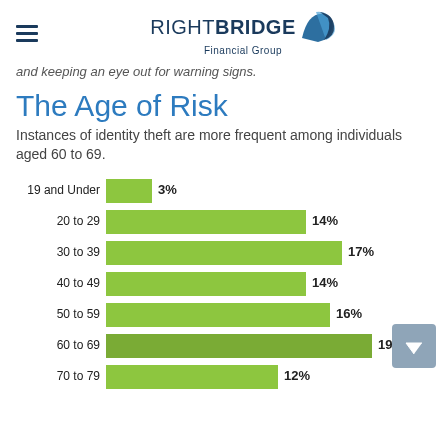RightBridge Financial Group
and keeping an eye out for warning signs.
The Age of Risk
Instances of identity theft are more frequent among individuals aged 60 to 69.
[Figure (bar-chart): The Age of Risk]